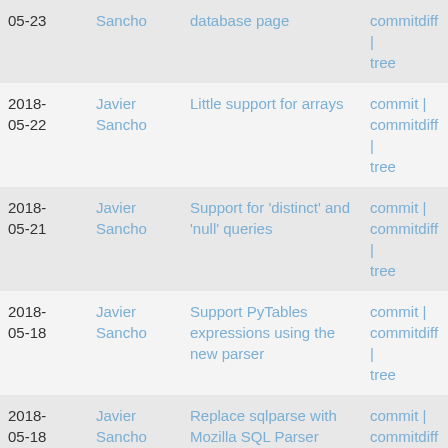| Date | Author | Message | Links |
| --- | --- | --- | --- |
| 05-23 | Sancho | database page | commitdiff | tree |
| 2018-05-22 | Javier Sancho | Little support for arrays | commit | commitdiff | tree |
| 2018-05-21 | Javier Sancho | Support for 'distinct' and 'null' queries | commit | commitdiff | tree |
| 2018-05-18 | Javier Sancho | Support PyTables expressions using the new parser | commit | commitdiff | tree |
| 2018-05-18 | Javier Sancho | Replace sqlparse with Mozilla SQL Parser | commit | commitdiff | tree |
| 2018-05-16 | Javier Sancho | Check limit to return the appropiate number of rows | commit | commitdiff | tree |
| 2018-05-15 | Javier Sancho | Support queries in PyTables style | commit | commitdiff | tree |
| 2018- | Javier | Provide int types instead numpy | commit | |